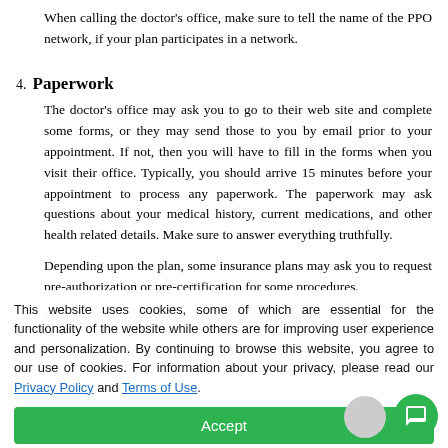When calling the doctor's office, make sure to tell the name of the PPO network, if your plan participates in a network.
4. Paperwork
The doctor's office may ask you to go to their web site and complete some forms, or they may send those to you by email prior to your appointment. If not, then you will have to fill in the forms when you visit their office. Typically, you should arrive 15 minutes before your appointment to process any paperwork. The paperwork may ask questions about your medical history, current medications, and other health related details. Make sure to answer everything truthfully.
Depending upon the plan, some insurance plans may ask you to request pre-authorization or pre-certification for some procedures. Please read your certificate wording to make sure.
5. Attend Appointment
This website uses cookies, some of which are essential for the functionality of the website while others are for improving user experience and personalization. By continuing to browse this website, you agree to our use of cookies. For information about your privacy, please read our Privacy Policy and Terms of Use.
The doctor's office may ask you to pay your deductible and/or portions that you are responsible. Some doctor offices have a